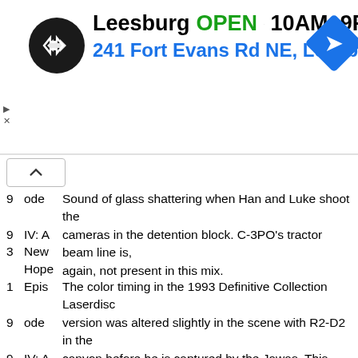[Figure (screenshot): Advertisement banner for a store location: logo (black circle with arrows icon), 'Leesburg OPEN 10AM-9PM' and '241 Fort Evans Rd NE, Leesb' with a blue navigation arrow icon. Play/close controls on left side.]
Sound of glass shattering when Han and Luke shoot the cameras in the detention block. C-3PO's tractor beam line is, again, not present in this mix.
9 ode | Sound of glass shattering when Han and Luke shoot the cameras in the detention block. C-3PO's tractor beam line is,
9 IV: A | again, not present in this mix.
3 New Hope
1 Epis 9 ode 9 IV: A 3 New Hope | The color timing in the 1993 Definitive Collection Laserdisc version was altered slightly in the scene with R2-D2 in the canyon before he is captured by the Jawas. This same transfer was also used in 1995 for the 'Faces' set. The original version of the scene takes place in daylight, while the color in the 1993 version is adjusted to make it appear more like twilight. This was further changed in the 1997 Special Edition, when the image was darkened and the sky altered from blue to an orange sunset.
1 Epis | The line 'close the blast doors!' was added to the mono release.